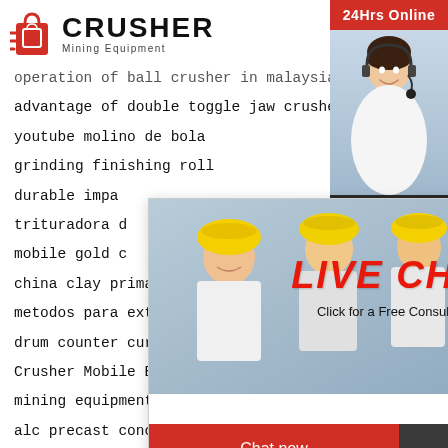CRUSHER Mining Equipment
operation of ball crusher in malaysia
advantage of double toggle jaw crusher
youtube molino de bola
grinding finishing roll
durable impa...
trituradora d...
mobile gold c...
china clay primary crusher for sale
metodos para extraer oro
drum counter current wet magnetic separator
Crusher Mobile Barite
mining equipment for sale ontario
alc precast concrete building aac floor panel
[Figure (screenshot): Live Chat popup with workers in hard hats, red LIVE CHAT text, Click for a Free Consultation, Chat now and Chat later buttons]
[Figure (infographic): Right sidebar: 24Hrs Online red banner, customer service representative photo, Need questions & suggestion? dark panel with Chat Now button, Enquiry section, limingjlmofen@sina.com email]